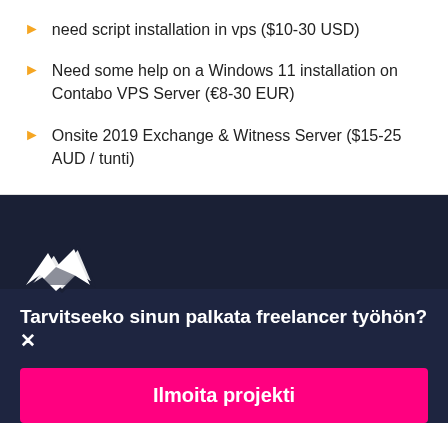need script installation in vps ($10-30 USD)
Need some help on a Windows 11 installation on Contabo VPS Server (€8-30 EUR)
Onsite 2019 Exchange & Witness Server ($15-25 AUD / tunti)
[Figure (logo): Freelancer.com white bird/arrow logo on dark navy background]
Tarvitseeko sinun palkata freelancer työhön?
Ilmoita projekti